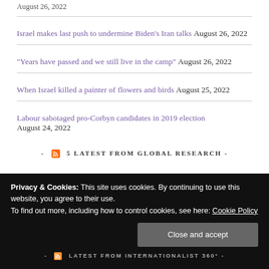August 26, 2022
Israel makes last push to undermine Biden's Iran talks August 26, 2022
"Years have passed and we still live in the camp" August 26, 2022
When Israel killed a painter of flowers and birds August 25, 2022
Labour sabotaged pro-Corbyn candidates in 2019 election August 24, 2022
- 5 LATEST FROM GLOBAL RESEARCH -
Privacy & Cookies: This site uses cookies. By continuing to use this website, you agree to their use. To find out more, including how to control cookies, see here: Cookie Policy
Close and accept
- LATEST FROM INTERNATIONALIST 360 -